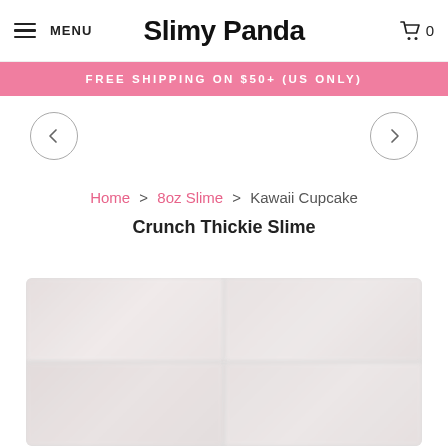MENU | Slimy Panda | 0
FREE SHIPPING ON $50+ (US ONLY)
[Figure (illustration): Left navigation arrow in circle]
[Figure (illustration): Right navigation arrow in circle]
Home > 8oz Slime > Kawaii Cupcake Crunch Thickie Slime
Kawaii Cupcake Crunch Thickie Slime
[Figure (photo): Blurred product photo grid showing four panels of Kawaii Cupcake Crunch Thickie Slime]